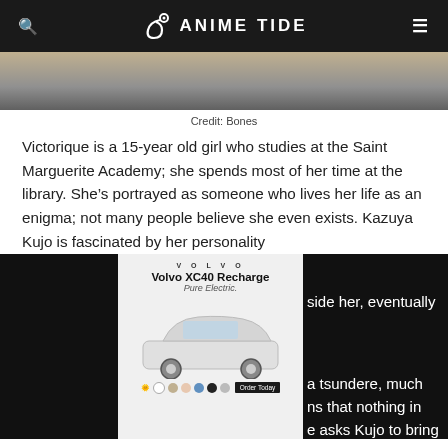ANIME TIDE
[Figure (photo): Partial anime scene image showing a character at a library, cropped at top]
Credit: Bones
Victorique is a 15-year old girl who studies at the Saint Marguerite Academy; she spends most of her time at the library. She’s portrayed as someone who lives her life as an enigma; not many people believe she even exists. Kazuya Kujo is fascinated by her personality [... partially obscured by ad overlay ...] side her, eventually [... ad overlay ...] a tsundere, much [... ad overlay ...] ns that nothing in [... ad overlay ...] e asks Kujo to bring different things to distract her. Victorique possesses an odd overwhelming charisma which she uses to
[Figure (other): Advertisement overlay showing Volvo XC40 Recharge Pure Electric car ad with color selector and CTA button, overlaid on black rectangles covering page content]